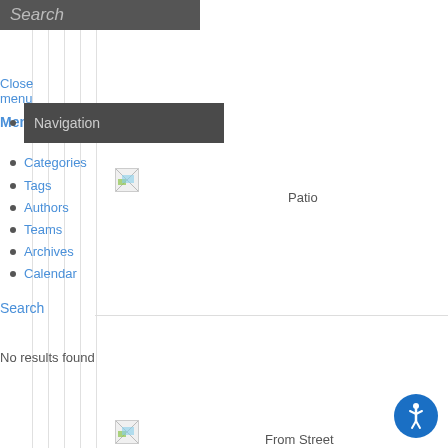Search
Close menu
Menu
Navigation
Categories
Tags
Authors
Teams
Archives
Calendar
[Figure (photo): Broken image placeholder for Patio]
Patio
Search
No results found
[Figure (photo): Broken image placeholder for From Street]
From Street
[Figure (infographic): Blue circle accessibility/wheelchair icon button]